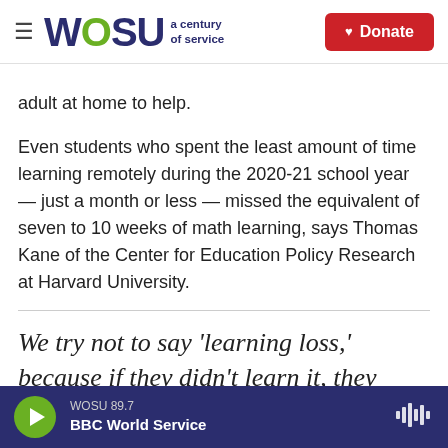WOSU a century of service | Donate
adult at home to help.
Even students who spent the least amount of time learning remotely during the 2020-21 school year — just a month or less — missed the equivalent of seven to 10 weeks of math learning, says Thomas Kane of the Center for Education Policy Research at Harvard University.
We try not to say 'learning loss,' because if they didn't learn it, they
WOSU 89.7 | BBC World Service